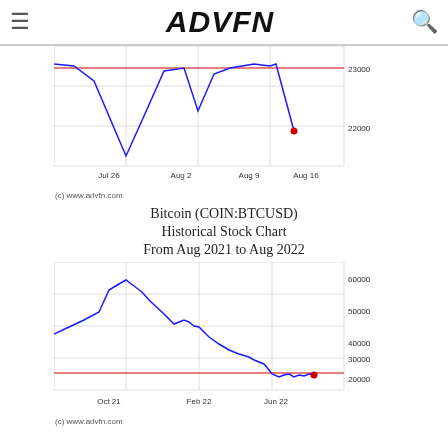ADVFN
[Figure (line-chart): Bitcoin short-term chart Jul-Aug 2022]
(c) www.advfn.com
Bitcoin (COIN:BTCUSD)
Historical Stock Chart
From Aug 2021 to Aug 2022
[Figure (line-chart): Bitcoin Historical Stock Chart Aug 2021 to Aug 2022]
(c) www.advfn.com